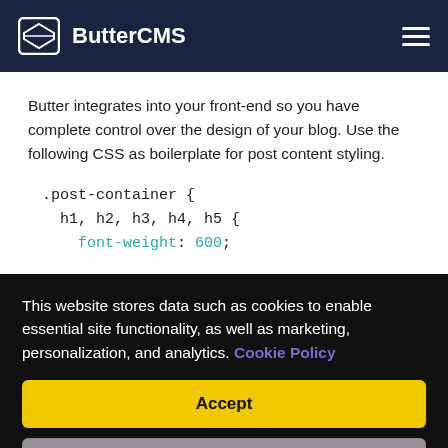ButterCMS
Butter integrates into your front-end so you have complete control over the design of your blog. Use the following CSS as boilerplate for post content styling.
.post-container {
  h1, h2, h3, h4, h5 {
    font-weight: 600;
This website stores data such as cookies to enable essential site functionality, as well as marketing, personalization, and analytics. Cookie Policy
Accept
Deny